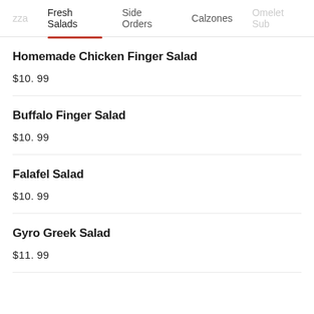zza   Fresh Salads   Side Orders   Calzones   Omelet Sub
Homemade Chicken Finger Salad
$10.99
Buffalo Finger Salad
$10.99
Falafel Salad
$10.99
Gyro Greek Salad
$11.99